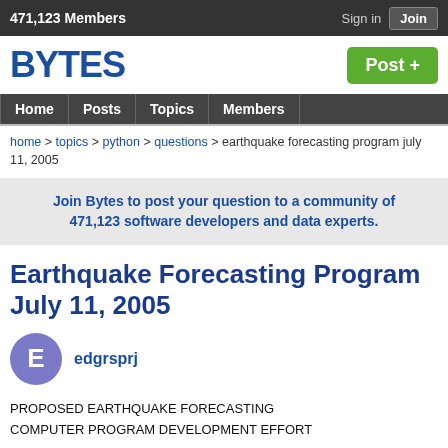471,123 Members   Sign in   Join
[Figure (logo): BYTES logo in dark blue bold text with Post + green button]
Home  Posts  Topics  Members
home > topics > python > questions > earthquake forecasting program july 11, 2005
Join Bytes to post your question to a community of 471,123 software developers and data experts.
Earthquake Forecasting Program July 11, 2005
edgrsprj
PROPOSED EARTHQUAKE FORECASTING
COMPUTER PROGRAM DEVELOPMENT EFFORT